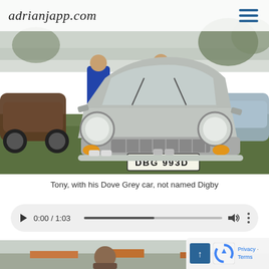adrianjapp.com
[Figure (photo): Front view of a dove grey classic Morris Minor car with license plate DBG 993D, parked on grass at a car show. A person in a blue jacket and another in a high-vis vest are visible behind it. Other classic cars are visible on either side.]
Tony, with his Dove Grey car, not named Digby
[Figure (other): Audio player control bar showing play button, time 0:00 / 1:03, progress bar, volume and more options icons]
[Figure (photo): Bottom portion of another photograph showing a person and buildings in the background]